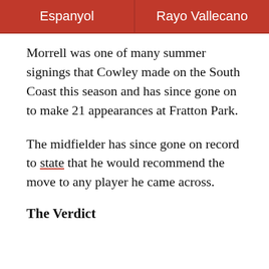| Espanyol | Rayo Vallecano |
| --- | --- |
Morrell was one of many summer signings that Cowley made on the South Coast this season and has since gone on to make 21 appearances at Fratton Park.
The midfielder has since gone on record to state that he would recommend the move to any player he came across.
The Verdict